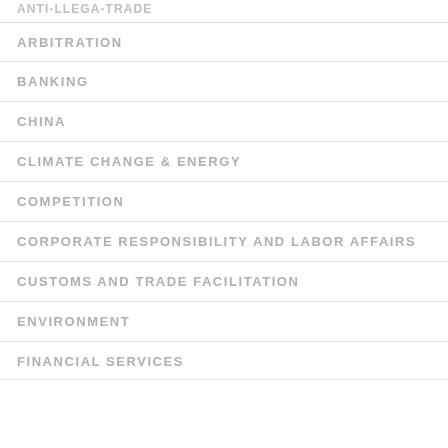ARBITRATION
BANKING
CHINA
CLIMATE CHANGE & ENERGY
COMPETITION
CORPORATE RESPONSIBILITY AND LABOR AFFAIRS
CUSTOMS AND TRADE FACILITATION
ENVIRONMENT
FINANCIAL SERVICES